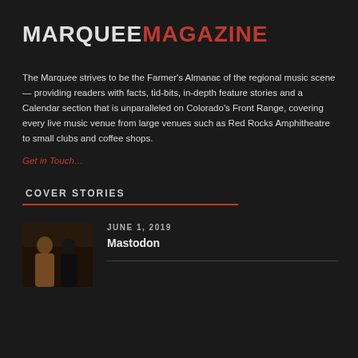MARQUEEMAGAZINE
The Marquee strives to be the Farmer's Almanac of the regional music scene — providing readers with facts, tid-bits, in-depth feature stories and a Calendar section that is unparalleled on Colorado's Front Range, covering every live music venue from large venues such as Red Rocks Amphitheatre to small clubs and coffee shops.
Get in Touch…
COVER STORIES
[Figure (photo): Thumbnail photo of two people seated, dark background, warm tone]
JUNE 1, 2019
Mastodon